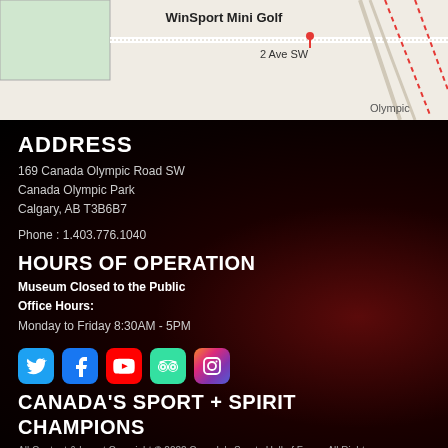[Figure (map): Google Maps screenshot showing WinSport Mini Golf location at 2 Ave SW, with road markings and partial view of Olympic area]
ADDRESS
169 Canada Olympic Road SW
Canada Olympic Park
Calgary, AB T3B6B7
Phone : 1.403.776.1040
HOURS OF OPERATION
Museum Closed to the Public
Office Hours:
Monday to Friday 8:30AM - 5PM
[Figure (infographic): Social media icons: Twitter, Facebook, YouTube, TripAdvisor, Instagram]
CANADA'S SPORT + SPIRIT CHAMPIONS
All Content & layout Copyright © 2022 Canada's Sports Hall of Fame. All Rights Reserved